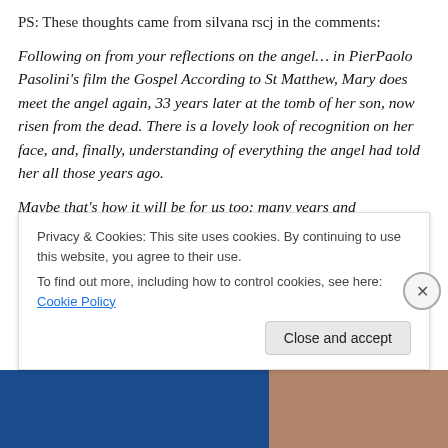PS: These thoughts came from silvana rscj in the comments:
Following on from your reflections on the angel… in PierPaolo Pasolini's film the Gospel According to St Matthew, Mary does meet the angel again, 33 years later at the tomb of her son, now risen from the dead. There is a lovely look of recognition on her face, and, finally, understanding of everything the angel had told her all those years ago.
Maybe that's how it will be for us too: many years and
Privacy & Cookies: This site uses cookies. By continuing to use this website, you agree to their use.
To find out more, including how to control cookies, see here: Cookie Policy
Close and accept